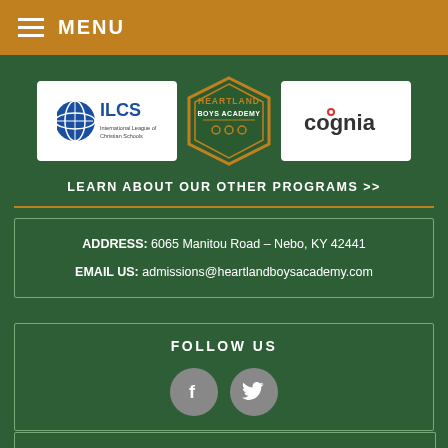MENU
[Figure (logo): ILCS logo - International League of Christian Schools]
[Figure (logo): Heartland Boys Academy badge logo]
[Figure (logo): Cognia accreditation logo]
LEARN ABOUT OUR OTHER PROGRAMS >>
ADDRESS: 6065 Manitou Road – Nebo, KY 42441
EMAIL US: admissions@heartlandboysacademy.com
FOLLOW US